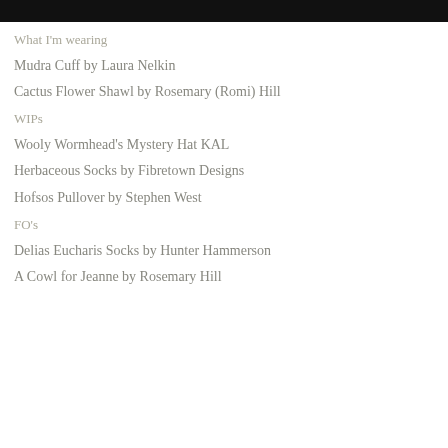[Figure (other): Black decorative bar at top of page]
What I'm wearing
Mudra Cuff by Laura Nelkin
Cactus Flower Shawl by Rosemary (Romi) Hill
WIPs
Wooly Wormhead's Mystery Hat KAL
Herbaceous Socks by Fibretown Designs
Hofsos Pullover by Stephen West
FO's
Delias Eucharis Socks by Hunter Hammerson
A Cowl for Jeanne by Rosemary Hill